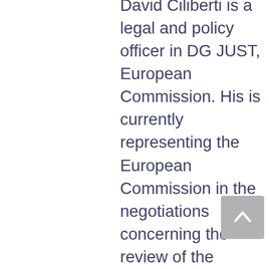David Ciliberti is a legal and policy officer in DG JUST, European Commission. His is currently representing the European Commission in the negotiations concerning the review of the Consumer Credit Directive and the rules concerning consumer financial services concluded at a distance (DMFSD). Prior to his current employment, Mr. Ciliberti served as a Justice and Home Affairs Attaché at the Maltese Representation to the EU. He represented Malta during the negotiations of the General Data Protection Regulation and the Law Enforcement Directive. During the Maltese Presidency of the Council of Ministers, Mr. Ciliberti chaired the Working Party on Information Exchange and Data Protection (DAPIX). Earlier in his career, Mr.